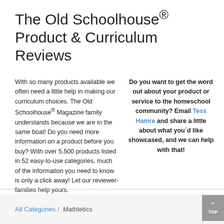The Old Schoolhouse® Product & Curriculum Reviews
With so many products available we often need a little help in making our curriculum choices. The Old Schoolhouse® Magazine family understands because we are in the same boat! Do you need more information on a product before you buy? With over 5,500 products listed in 52 easy-to-use categories, much of the information you need to know is only a click away! Let our reviewer-families help yours.
Do you want to get the word out about your product or service to the homeschool community? Email Tess Hamre and share a little about what you'd like showcased, and we can help with that!
All Categories / Mathletics